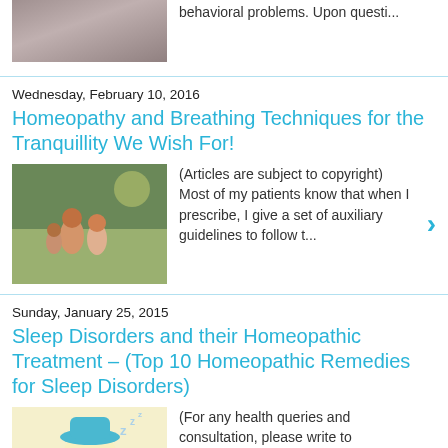[Figure (photo): Partial photo of people walking, top of page]
behavioral problems. Upon questi...
Wednesday, February 10, 2016
Homeopathy and Breathing Techniques for the Tranquillity We Wish For!
[Figure (photo): People sitting outdoors, family scene]
(Articles are subject to copyright) Most of my patients know that when I prescribe, I give a set of auxiliary guidelines to follow t...
Sunday, January 25, 2015
Sleep Disorders and their Homeopathic Treatment – (Top 10 Homeopathic Remedies for Sleep Disorders)
[Figure (illustration): Illustration of a sleeping person with hat]
(For any health queries and consultation, please write to contact@drshreya.com)  (Copyright-drshreya.com) "SLEEP" is somethin...